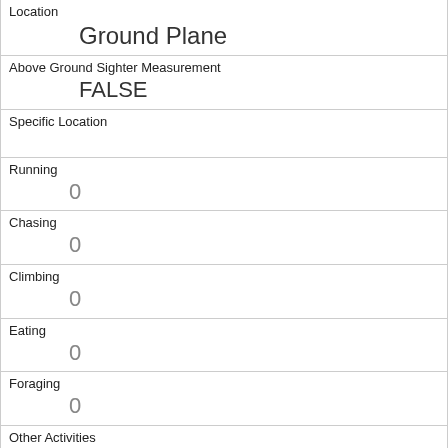| Location | Ground Plane |
| Above Ground Sighter Measurement | FALSE |
| Specific Location |  |
| Running | 0 |
| Chasing | 0 |
| Climbing | 0 |
| Eating | 0 |
| Foraging | 0 |
| Other Activities | dead (something ran over it) |
| Kuks | 0 |